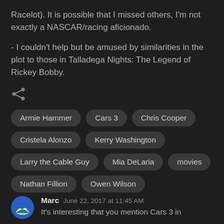Racelot). It is possible that I missed others, I'm not exactly a NASCAR/racing aficionado.
- I couldn't help but be amused by similarities in the plot to those in Talladega Nights: The Legend of Rickey Bobby.
[Figure (other): Share icon (social sharing button)]
Armie Hammer
Cars 3
Chris Cooper
Cristela Alonzo
Kerry Washington
Larry the Cable Guy
Mia DeLaria
movies
Nathan Fillion
Owen Wilson
Marc  June 22, 2017 at 11:45 AM
It's interesting that you mention Cars 3 in